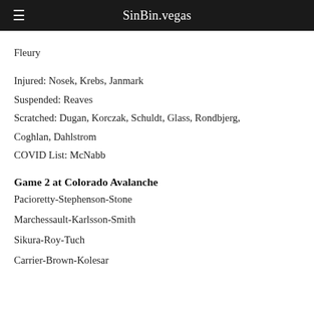SinBin.vegas
Fleury
Injured: Nosek, Krebs, Janmark
Suspended: Reaves
Scratched: Dugan, Korczak, Schuldt, Glass, Rondbjerg, Coghlan, Dahlstrom
COVID List: McNabb
Game 2 at Colorado Avalanche
Pacioretty-Stephenson-Stone
Marchessault-Karlsson-Smith
Sikura-Roy-Tuch
Carrier-Brown-Kolesar